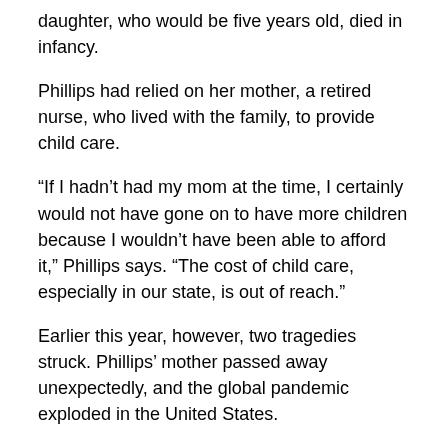daughter, who would be five years old, died in infancy.
Phillips had relied on her mother, a retired nurse, who lived with the family, to provide child care.
“If I hadn’t had my mom at the time, I certainly would not have gone on to have more children because I wouldn’t have been able to afford it,” Phillips says. “The cost of child care, especially in our state, is out of reach.”
Earlier this year, however, two tragedies struck. Phillips’ mother passed away unexpectedly, and the global pandemic exploded in the United States.
So Phillips had to manage her grief, take care of her children, and work full time. A social worker herself, she supervises social workers who provide early intervention services for families.